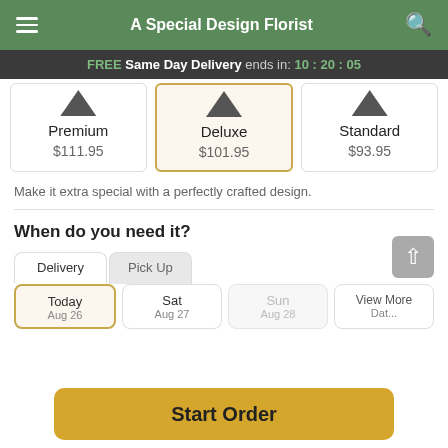A Special Design Florist
FREE Same Day Delivery ends in: 10:20:05
| Premium | Deluxe | Standard |
| --- | --- | --- |
| $111.95 | $101.95 | $93.95 |
Make it extra special with a perfectly crafted design.
When do you need it?
Delivery | Pick Up
Today | Sat | Sun | View More
Start Order